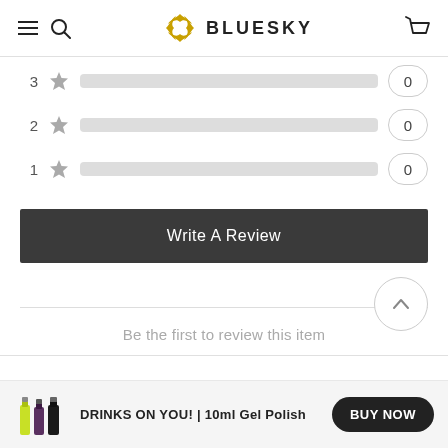BLUESKY
[Figure (infographic): Star rating distribution bars for 3, 2, and 1 star ratings, each showing 0 reviews with empty grey bars]
Write A Review
Be the first to review this item
DRINKS ON YOU! | 10ml Gel Polish
BUY NOW